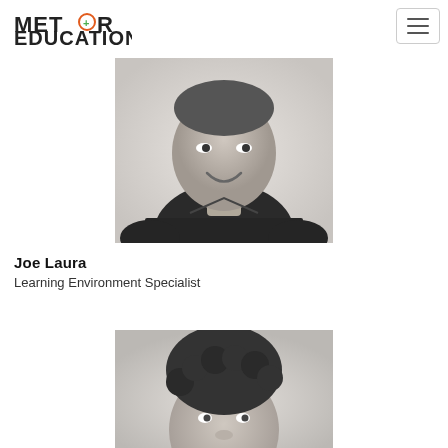Meteor Education — accelerating engagement
[Figure (photo): Black and white portrait photo of Joe Laura, a man in a dark patterned button-up shirt, smiling at camera, upper body visible]
Joe Laura
Learning Environment Specialist
[Figure (photo): Black and white portrait photo of a woman with curly dark hair, partially visible, cropped at top of frame]